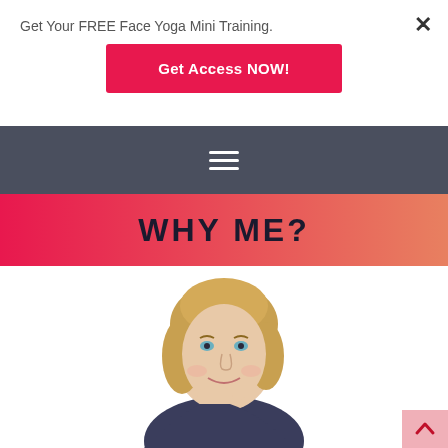Get Your FREE Face Yoga Mini Training.
Get Access NOW!
[Figure (screenshot): Navigation hamburger menu icon (three horizontal lines) on dark gray background]
WHY ME?
[Figure (photo): Portrait of a smiling blonde woman with shoulder-length hair, resting her chin on her hand, wearing a dark top]